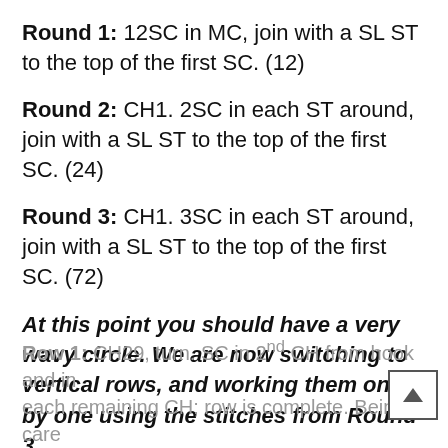Round 1: 12SC in MC, join with a SL ST to the top of the first SC. (12)
Round 2: CH1. 2SC in each ST around, join with a SL ST to the top of the first SC. (24)
Round 3: CH1. 3SC in each ST around, join with a SL ST to the top of the first SC. (72)
At this point you should have a very wavy circle. We are now switching to vertical rows, and working them one by one using the stitches from Round 3.
Row 1: CH29, turn. SC in 2nd CH from hook and in each remaining CH; row is complete. Being care